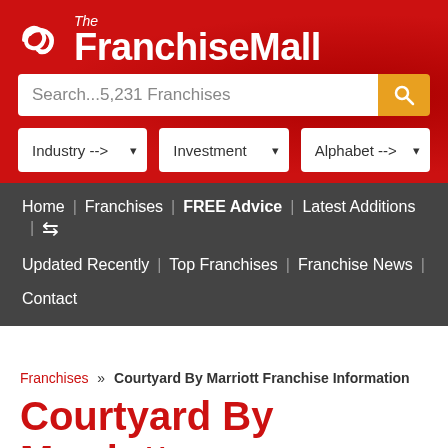[Figure (logo): The FranchiseMall logo — interlocking loops icon with white text on red background]
Search...5,231 Franchises
Industry --> | Investment | Alphabet -->
Home | Franchises | FREE Advice | Latest Additions | Updated Recently | Top Franchises | Franchise News | Contact
Franchises » Courtyard By Marriott Franchise Information
Courtyard By Marriott Franchise